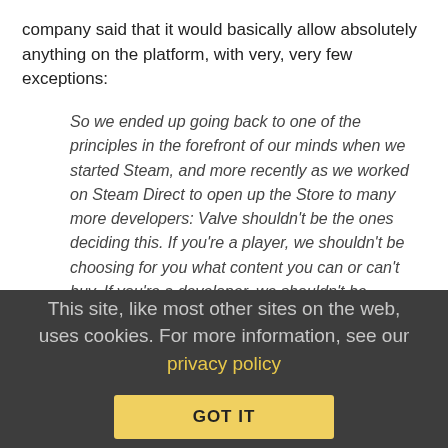company said that it would basically allow absolutely anything on the platform, with very, very few exceptions:
So we ended up going back to one of the principles in the forefront of our minds when we started Steam, and more recently as we worked on Steam Direct to open up the Store to many more developers: Valve shouldn't be the ones deciding this. If you're a player, we shouldn't be choosing for you what content you can or can't buy. If you're a developer, we shouldn't be choosing what content you're allowed to create. Those choices should be yours to make. Our role should be to provide systems and tools to support your efforts to make these choices for yourself, and to help you do it in a way that makes you feel comfortable.
This site, like most other sites on the web, uses cookies. For more information, see our privacy policy
GOT IT